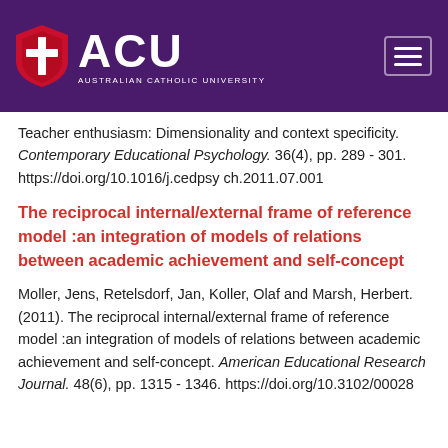ACU Australian Catholic University
Teacher enthusiasm: Dimensionality and context specificity. Contemporary Educational Psychology. 36(4), pp. 289 - 301. https://doi.org/10.1016/j.cedpsych.2011.07.001
The reciprocal internal/external frame of reference model :an integration of models of relations between academic achievement and self-concept
Moller, Jens, Retelsdorf, Jan, Koller, Olaf and Marsh, Herbert. (2011). The reciprocal internal/external frame of reference model :an integration of models of relations between academic achievement and self-concept. American Educational Research Journal. 48(6), pp. 1315 - 1346. https://doi.org/10.3102/00028